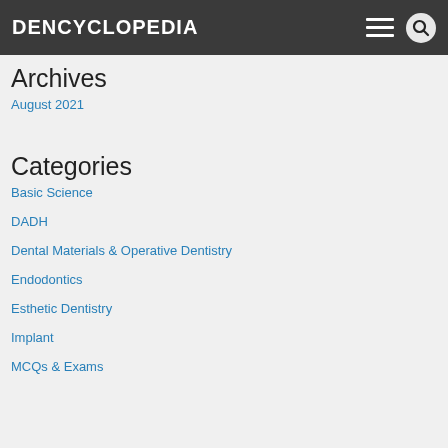DENCYCLOPEDIA
Archives
August 2021
Categories
Basic Science
DADH
Dental Materials & Operative Dentistry
Endodontics
Esthetic Dentistry
Implant
MCQs & Exams